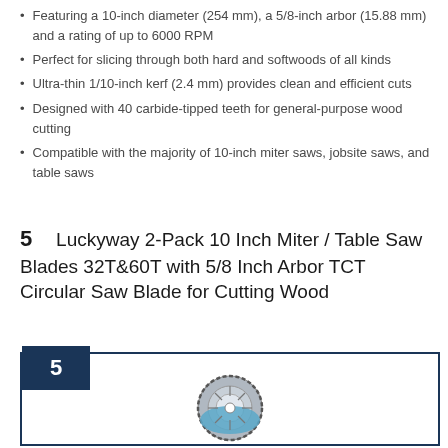Featuring a 10-inch diameter (254 mm), a 5/8-inch arbor (15.88 mm) and a rating of up to 6000 RPM
Perfect for slicing through both hard and softwoods of all kinds
Ultra-thin 1/10-inch kerf (2.4 mm) provides clean and efficient cuts
Designed with 40 carbide-tipped teeth for general-purpose wood cutting
Compatible with the majority of 10-inch miter saws, jobsite saws, and table saws
5   Luckyway 2-Pack 10 Inch Miter / Table Saw Blades 32T&60T with 5/8 Inch Arbor TCT Circular Saw Blade for Cutting Wood
[Figure (illustration): Numbered product box (number 5) with a dark navy badge showing '5', bordered in dark navy, containing a circular saw blade illustration at the bottom]